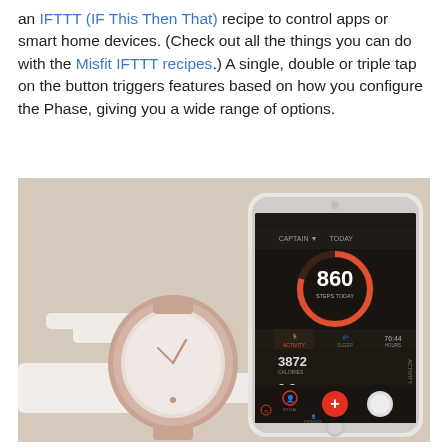an IFTTT (IF This Then That) recipe to control apps or smart home devices. (Check out all the things you can do with the Misfit IFTTT recipes.) A single, double or triple tap on the button triggers features based on how you configure the Phase, giving you a wide range of options.
[Figure (photo): Photo of a Misfit Phase smartwatch with white band next to an iPhone displaying the Misfit activity tracking app showing 860 steps with a circular progress ring and stats including Activity, Sleep, 3872 steps, 2.8 miles, 76:44.]